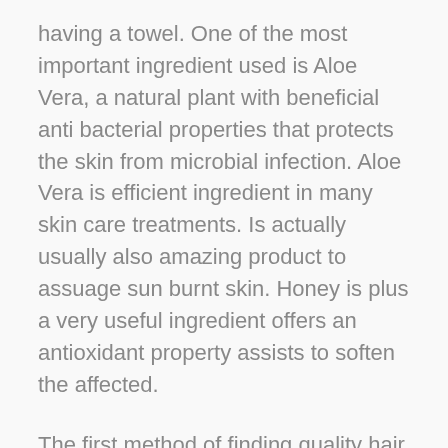having a towel. One of the most important ingredient used is Aloe Vera, a natural plant with beneficial anti bacterial properties that protects the skin from microbial infection. Aloe Vera is efficient ingredient in many skin care treatments. Is actually usually also amazing product to assuage sun burnt skin. Honey is plus a very useful ingredient offers an antioxidant property assists to soften the affected.
The first method of finding quality hair salons is to ask around. Ask your neighbor where she gets her hair done. If possible, find a person with a method similar to yours; and have already no stranger to your style and length.